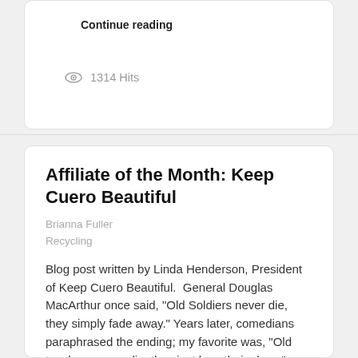Continue reading
1314 Hits
Affiliate of the Month: Keep Cuero Beautiful
Brianna Fuller
Recycling
Blog post written by Linda Henderson, President of Keep Cuero Beautiful.  General Douglas MacArthur once said, "Old Soldiers never die, they simply fade away." Years later, comedians paraphrased the ending; my favorite was, "Old teachers never die, they just lose their class." Keep Cuero Beautiful